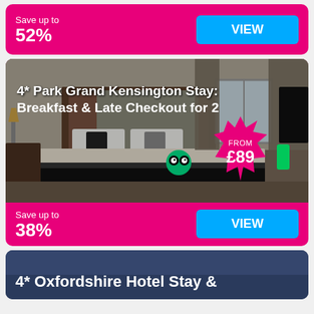Save up to 52%
[Figure (screenshot): Hotel room photo with white bed, dark headboard, and 'FROM £89' price burst. Title: '4* Park Grand Kensington Stay: Breakfast & Late Checkout for 2']
Save up to 38%
4* Oxfordshire Hotel Stay &